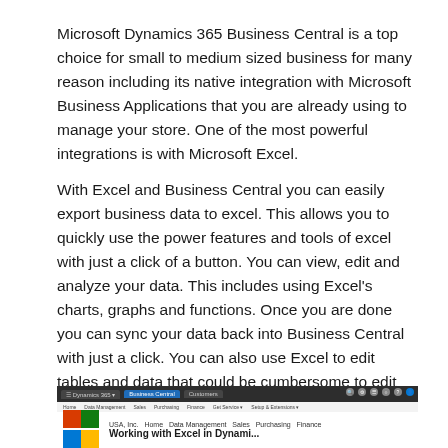Microsoft Dynamics 365 Business Central is a top choice for small to medium sized business for many reason including its native integration with Microsoft Business Applications that you are already using to manage your store. One of the most powerful integrations is with Microsoft Excel.
With Excel and Business Central you can easily export business data to excel. This allows you to quickly use the power features and tools of excel with just a click of a button. You can view, edit and analyze your data. This includes using Excel's charts, graphs and functions. Once you are done you can sync your data back into Business Central with just a click. You can also use Excel to edit tables and data that could be cumbersome to edit one in at time. Watch the video below to see how fast and easy it is to view and edit your data in Excel.
[Figure (screenshot): Screenshot of Microsoft Dynamics 365 Business Central interface showing the top navigation bar with Business Central tab active, company name, and partial heading text visible.]